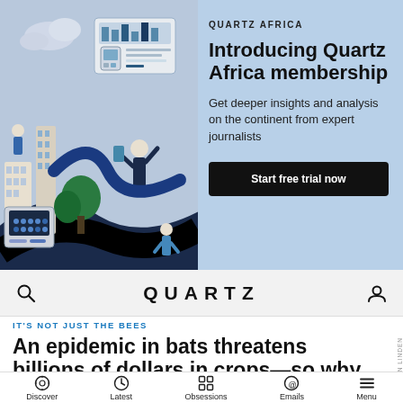[Figure (illustration): Blue-toned editorial illustration with people, buildings, technology devices, charts, clouds and city elements in a flat graphic style for Quartz Africa membership promotion]
QUARTZ AFRICA
Introducing Quartz Africa membership
Get deeper insights and analysis on the continent from expert journalists
Start free trial now
QUARTZ
IT'S NOT JUST THE BEES
An epidemic in bats threatens billions of dollars in crops—so why is
Discover  Latest  Obsessions  Emails  Menu